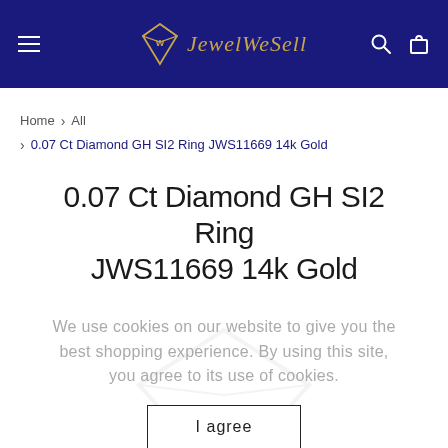JewelWeSell navigation header
Home > All > 0.07 Ct Diamond GH SI2 Ring JWS11669 14k Gold
0.07 Ct Diamond GH SI2 Ring JWS11669 14k Gold
We use cookies on our website to give you the best shopping experience. By using this site, you agree to its use of cookies.
I agree